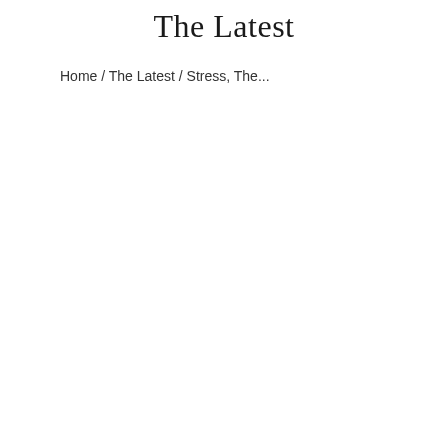The Latest
Home / The Latest / Stress, The...